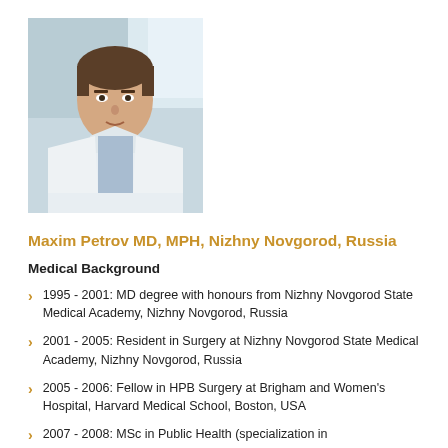[Figure (photo): Headshot photo of a young man in a white medical coat and blue tie, seated near a window.]
Maxim Petrov MD, MPH, Nizhny Novgorod, Russia
Medical Background
1995 - 2001: MD degree with honours from Nizhny Novgorod State Medical Academy, Nizhny Novgorod, Russia
2001 - 2005: Resident in Surgery at Nizhny Novgorod State Medical Academy, Nizhny Novgorod, Russia
2005 - 2006: Fellow in HPB Surgery at Brigham and Women's Hospital, Harvard Medical School, Boston, USA
2007 - 2008: MSc in Public Health (specialization in